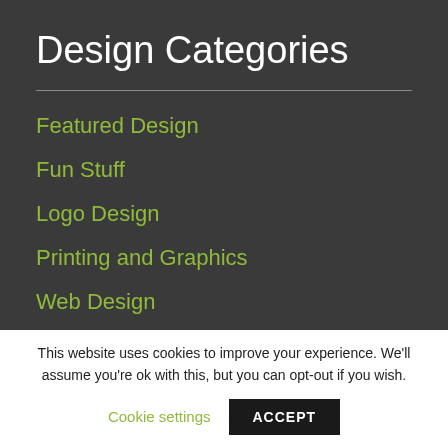Design Categories
Featured Design
Fun Stuff
Logo Design
Printing and Graphics
Web Design
This website uses cookies to improve your experience. We'll assume you're ok with this, but you can opt-out if you wish.
Cookie settings
ACCEPT